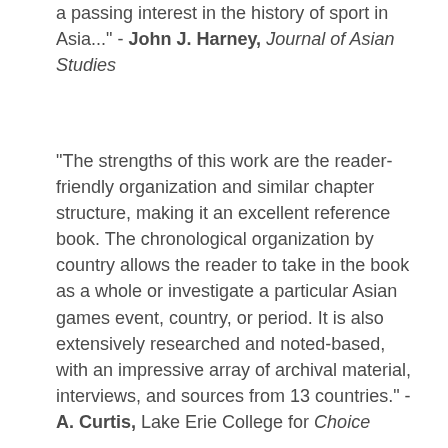a passing interest in the history of sport in Asia..." - John J. Harney, Journal of Asian Studies
"The strengths of this work are the reader-friendly organization and similar chapter structure, making it an excellent reference book. The chronological organization by country allows the reader to take in the book as a whole or investigate a particular Asian games event, country, or period. It is also extensively researched and noted-based, with an impressive array of archival material, interviews, and sources from 13 countries." - A. Curtis, Lake Erie College for Choice
“a fascinating contribution to the history of Asian nationalisms...based on rigorous and exhaustive research across archives in multiple languages in Asian, European and Ameri- can archives....a brilliant scholarly monograph that takes us well beyond the athletics of the Games. They